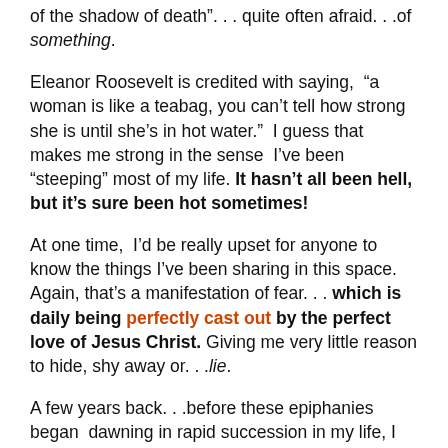of the shadow of death". . . quite often afraid. . .of something.
Eleanor Roosevelt is credited with saying, “a woman is like a teabag, you can’t tell how strong she is until she’s in hot water.”  I guess that makes me strong in the sense  I’ve been “steeping” most of my life. It hasn’t all been hell, but it’s sure been hot sometimes!
At one time,  I’d be really upset for anyone to know the things I’ve been sharing in this space. Again, that’s a manifestation of fear. . . which is daily being perfectly cast out by the perfect love of Jesus Christ. Giving me very little reason to hide, shy away or. . .lie.
A few years back. . .before these epiphanies began  dawning in rapid succession in my life, I walked in and out of a personal darkness. I wasn’t a horribly bad person…I just wasn’t wholly good, which makes me just like anyone else